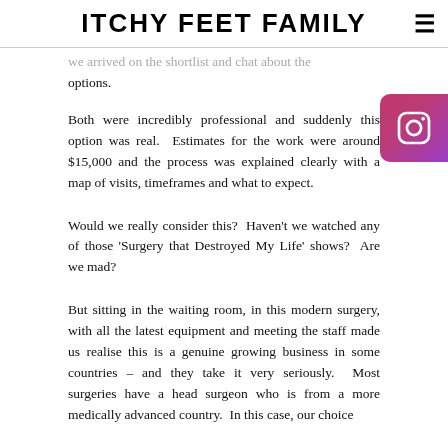ITCHY FEET FAMILY
we arrived on the shortlist and chat about the options.
Both were incredibly professional and suddenly this option was real.  Estimates for the work were around $15,000 and the process was explained clearly with a map of visits, timeframes and what to expect.
Would we really consider this?  Haven't we watched any of those 'Surgery that Destroyed My Life' shows?  Are we mad?
But sitting in the waiting room, in this modern surgery, with all the latest equipment and meeting the staff made us realise this is a genuine growing business in some countries – and they take it very seriously.  Most surgeries have a head surgeon who is from a more medically advanced country.  In this case, our choice